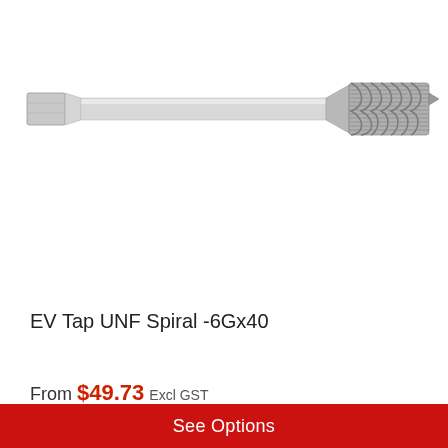[Figure (photo): Photograph of a spiral flute machine tap (EV Tap UNF Spiral -6Gx40) showing a long shank tool with a square drive end on the left, smooth cylindrical shank in the middle, and spiral-fluted threaded cutting end on the right.]
EV Tap UNF Spiral -6Gx40
From $49.73 Excl GST
See Options